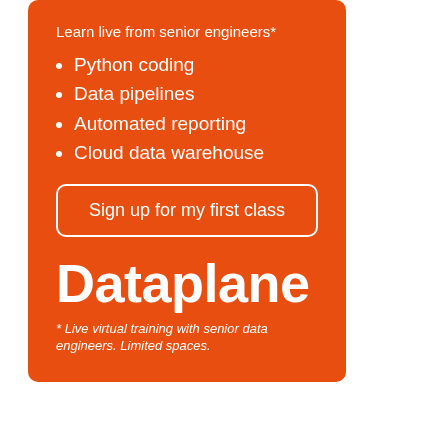Learn live from senior engineers*
Python coding
Data pipelines
Automated reporting
Cloud data warehouse
Sign up for my first class
Dataplane
* Live virtual training with senior data engineers. Limited spaces.